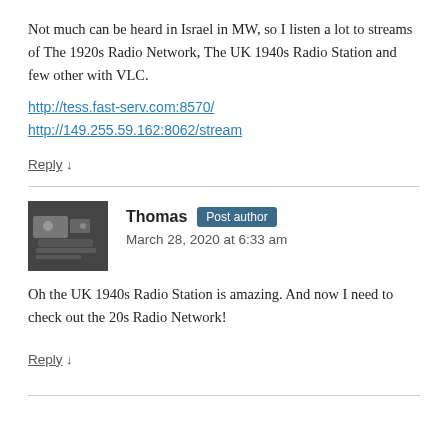Not much can be heard in Israel in MW, so I listen a lot to streams of The 1920s Radio Network, The UK 1940s Radio Station and few other with VLC.
http://tess.fast-serv.com:8570/
http://149.255.59.162:8062/stream
Reply ↓
Thomas Post author
March 28, 2020 at 6:33 am
Oh the UK 1940s Radio Station is amazing. And now I need to check out the 20s Radio Network!
Reply ↓